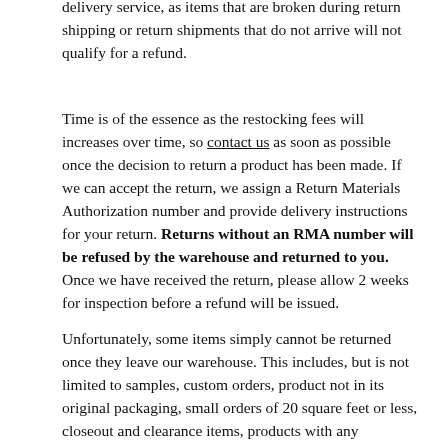delivery service, as items that are broken during return shipping or return shipments that do not arrive will not qualify for a refund.
Time is of the essence as the restocking fees will increases over time, so contact us as soon as possible once the decision to return a product has been made. If we can accept the return, we assign a Return Materials Authorization number and provide delivery instructions for your return. Returns without an RMA number will be refused by the warehouse and returned to you. Once we have received the return, please allow 2 weeks for inspection before a refund will be issued.
Unfortunately, some items simply cannot be returned once they leave our warehouse. This includes, but is not limited to samples, custom orders, product not in its original packaging, small orders of 20 square feet or less, closeout and clearance items, products with any dimension that is more than 24" long, etc. If you want to